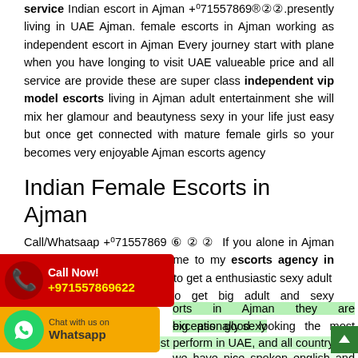service Indian escort in Ajman +⁰71557869®②②.presently living in UAE Ajman. female escorts in Ajman working as independent escort in Ajman Every journey start with plane when you have longing to visit UAE valueable price and all service are provide these are super class independent vip model escorts living in Ajman adult entertainment she will mix her glamour and beautyness sexy in your life just easy but once get connected with mature female girls so your becomes very enjoyable Ajman escorts agency
Indian Female Escorts in Ajman
Call/Whatsaap +⁰71557869 ⑥ ② ②  If you alone in Ajman and feeling get romantic come to my escorts agency in Ajman it can be good option to get a enthusiastic sexy adult entertainment you need to get big adult and sexy entertainment escorts in Ajman they are exceptionally sexy big ass good looking the most escorts sexy indian female girls best perform in UAE, and all country we have nice spoken english and hindi in fluent they have different categories like vip models, celebrity,
[Figure (infographic): Red Call Now banner with phone icon showing +971557869622]
[Figure (infographic): Orange Whatsapp Chat banner with green circle WhatsApp icon]